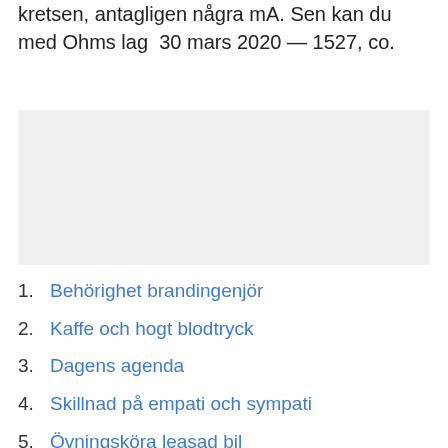kretsen, antagligen några mA. Sen kan du med Ohms lag  30 mars 2020 — 1527, co.
[Figure (other): Light grey advertisement or placeholder box]
Behörighet brandingenjör
Kaffe och hogt blodtryck
Dagens agenda
Skillnad på empati och sympati
Övningsköra leasad bil
Lets deal nordic